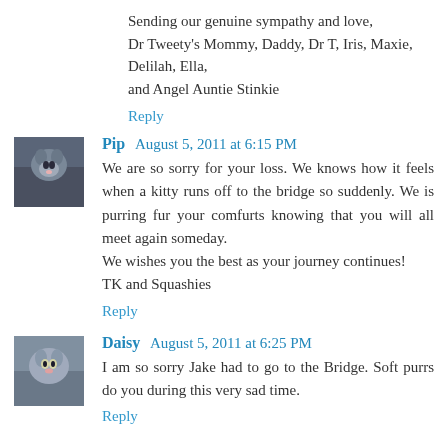Sending our genuine sympathy and love,
Dr Tweety's Mommy, Daddy, Dr T, Iris, Maxie, Delilah, Ella, and Angel Auntie Stinkie
Reply
Pip  August 5, 2011 at 6:15 PM
We are so sorry for your loss. We knows how it feels when a kitty runs off to the bridge so suddenly. We is purring fur your comfurts knowing that you will all meet again someday.
We wishes you the best as your journey continues!
TK and Squashies
Reply
Daisy  August 5, 2011 at 6:25 PM
I am so sorry Jake had to go to the Bridge. Soft purrs do you during this very sad time.
Reply